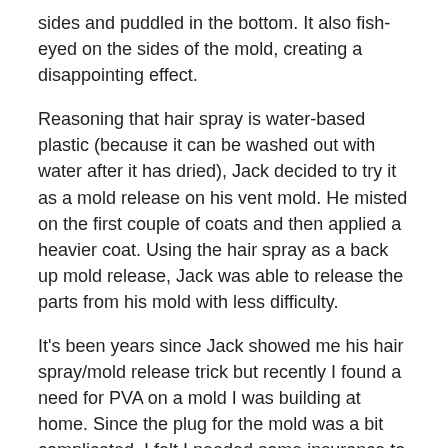sides and puddled in the bottom. It also fish-eyed on the sides of the mold, creating a disappointing effect.
Reasoning that hair spray is water-based plastic (because it can be washed out with water after it has dried), Jack decided to try it as a mold release on his vent mold. He misted on the first couple of coats and then applied a heavier coat. Using the hair spray as a back up mold release, Jack was able to release the parts from his mold with less difficulty.
It's been years since Jack showed me his hair spray/mold release trick but recently I found a need for PVA on a mold I was building at home. Since the plug for the mold was a bit complicated, I felt I needed some insurance to make sure the mold would release from the plug. I decided to give Jack's hair spray trick a try.
First, I waxed the mold plug with five coats of Meguiar's Mirror Glaze 8 Maximum Mold Release Wax™ in preparation